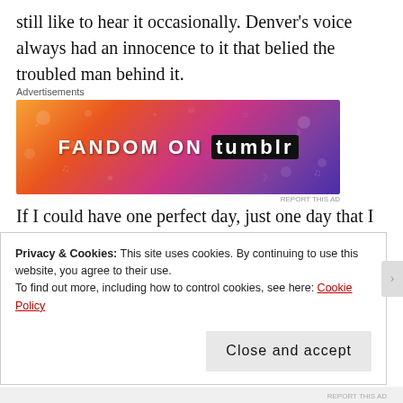still like to hear it occasionally. Denver's voice always had an innocence to it that belied the troubled man behind it.
[Figure (infographic): Fandom on Tumblr advertisement banner with colorful gradient background (orange to purple) and white/black text reading FANDOM ON tumblr]
Advertisements
REPORT THIS AD
If I could have one perfect day, just one day that I alone could orchestrate with no outside forces to interfere, I wonder what it would be, from start to finish. I've given this some thought, and I think that this would be my one perfect day. (First, I would have to preface it by saying that I
Privacy & Cookies: This site uses cookies. By continuing to use this website, you agree to their use.
To find out more, including how to control cookies, see here: Cookie Policy
Close and accept